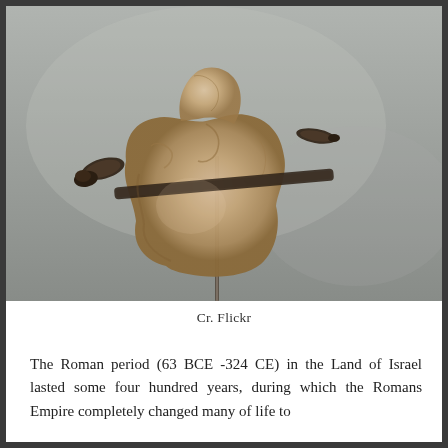[Figure (photo): Close-up photograph of an ancient bone or fossil artifact mounted on a metal pin/stand, displayed against a gray blurred background. The artifact appears to be a heel bone (calcaneus) with an iron nail through it, evidence of crucifixion from the Roman period.]
Cr. Flickr
The Roman period (63 BCE -324 CE) in the Land of Israel lasted some four hundred years, during which the Romans Empire completely changed many of life to